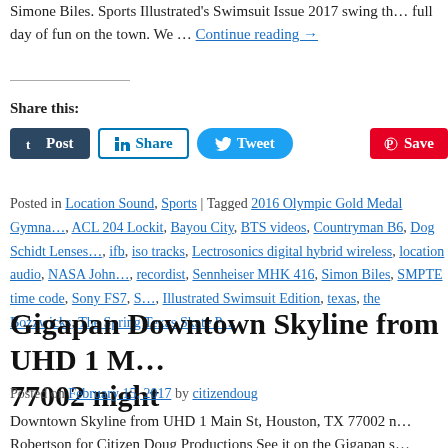Simone Biles. Sports Illustrated's Swimsuit Issue 2017 swing th… full day of fun on the town. We … Continue reading →
Share this:
[Figure (other): Social sharing buttons: Post (Tumblr), Share (LinkedIn), Tweet (Twitter), Save (Pinterest)]
Posted in Location Sound, Sports | Tagged 2016 Olympic Gold Medal Gymna…, ACL 204 Lockit, Bayou City, BTS videos, Countryman B6, Dog Schidt Lenses…, ifb, iso tracks, Lectrosonics digital hybrid wireless, location audio, NASA John…, recordist, Sennheiser MHK 416, Simon Biles, SMPTE time code, Sony FS7, S…, Illustrated Swimsuit Edition, texas, the Bozzwicks, The Spring Texas Skate P…
Gigapan Downtown Skyline from UHD 1 M… 77002 night
Posted on February 15, 2017 by citizendoug
Downtown Skyline from UHD 1 Main St, Houston, TX 77002 n… Robertson for Citizen Doug Productions See it on the Gigapan s… Doug